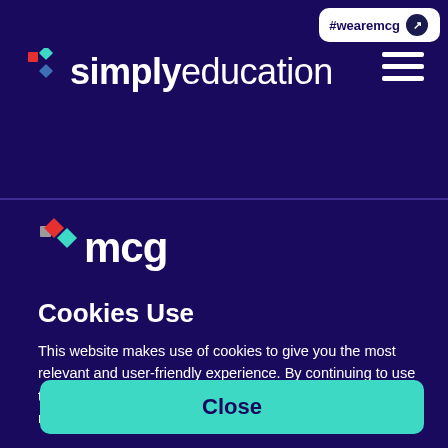[Figure (logo): #wearemcg badge with arrow icon in top right corner]
[Figure (logo): Simply Education logo with colorful dots and white text on dark purple background]
[Figure (logo): MCG logo with colorful dots and white mcg text]
Cookies Use
This website makes use of cookies to give you the most relevant and user-friendly experience. By continuing to use this website you consent to the use of cookies. To find out more, please take a look at our Privacy & Cookie Policy.
Close